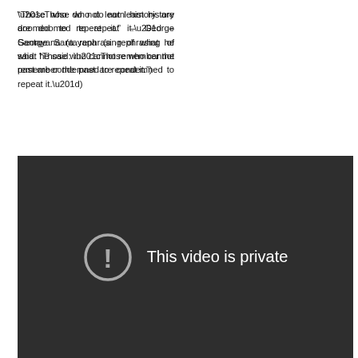“Those who do not learn history are doomed to repeat it.” – George Santayana (a rephrasing of what he said: “Those who cannot remember the past are condemned to repeat it.”)
[Figure (screenshot): A dark video player showing a private video error message: a circle with an exclamation mark icon and the text 'This video is private'.]